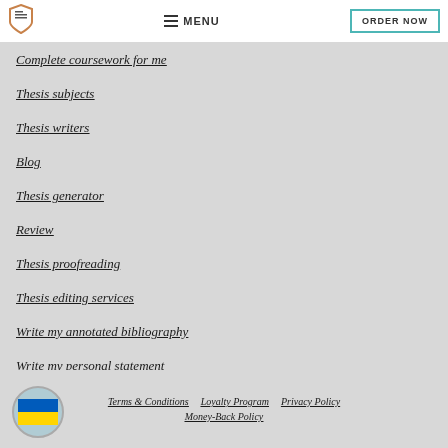MENU | ORDER NOW
Complete coursework for me
Thesis subjects
Thesis writers
Blog
Thesis generator
Review
Thesis proofreading
Thesis editing services
Write my annotated bibliography
Write my personal statement
Terms & Conditions  Loyalty Program  Privacy Policy  Money-Back Policy